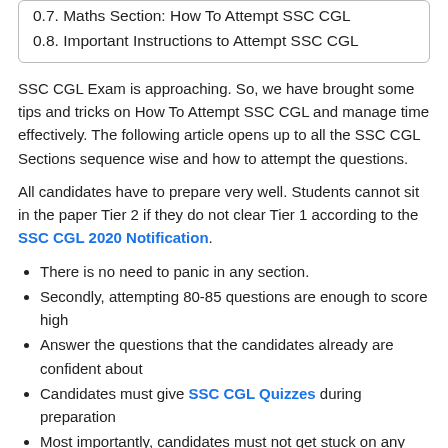0.7. Maths Section: How To Attempt SSC CGL
0.8. Important Instructions to Attempt SSC CGL
SSC CGL Exam is approaching. So, we have brought some tips and tricks on How To Attempt SSC CGL and manage time effectively. The following article opens up to all the SSC CGL Sections sequence wise and how to attempt the questions.
All candidates have to prepare very well. Students cannot sit in the paper Tier 2 if they do not clear Tier 1 according to the SSC CGL 2020 Notification.
There is no need to panic in any section.
Secondly, attempting 80-85 questions are enough to score high
Answer the questions that the candidates already are confident about
Candidates must give SSC CGL Quizzes during preparation
Most importantly, candidates must not get stuck on any particular question